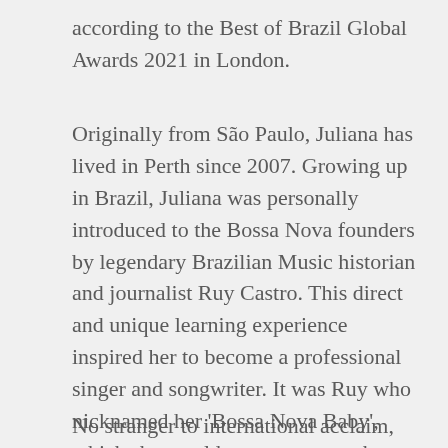according to the Best of Brazil Global Awards 2021 in London.
Originally from São Paulo, Juliana has lived in Perth since 2007. Growing up in Brazil, Juliana was personally introduced to the Bossa Nova founders by legendary Brazilian Music historian and journalist Ruy Castro. This direct and unique learning experience inspired her to become a professional singer and songwriter. It was Ruy who nicknamed her 'Bossa Nova Baby', which she would go on to use as her album title.
No stranger to international acclaim, Juliana